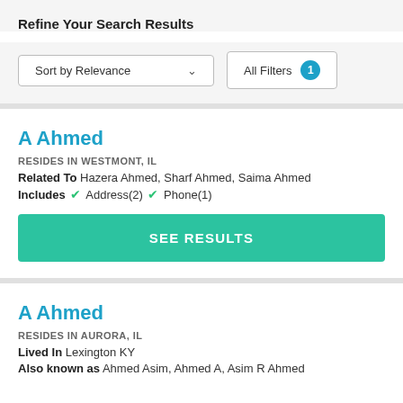Refine Your Search Results
Sort by Relevance | All Filters 1
A Ahmed
RESIDES IN WESTMONT, IL
Related To Hazera Ahmed, Sharf Ahmed, Saima Ahmed
Includes ✓ Address(2) ✓ Phone(1)
SEE RESULTS
A Ahmed
RESIDES IN AURORA, IL
Lived In Lexington KY
Also known as Ahmed Asim, Ahmed A, Asim R Ahmed